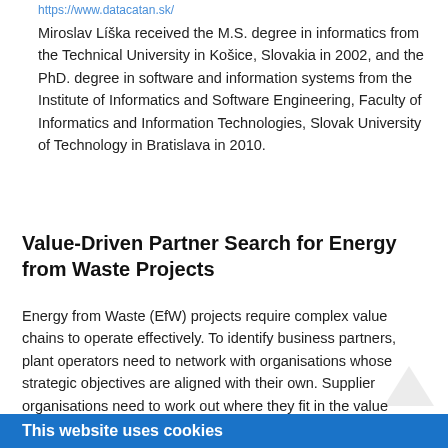https://www.datacatan.sk/
Miroslav Líška received the M.S. degree in informatics from the Technical University in Košice, Slovakia in 2002, and the PhD. degree in software and information systems from the Institute of Informatics and Software Engineering, Faculty of Informatics and Information Technologies, Slovak University of Technology in Bratislava in 2010.
Value-Driven Partner Search for Energy from Waste Projects
Energy from Waste (EfW) projects require complex value chains to operate effectively. To identify business partners, plant operators need to network with organisations whose strategic objectives are aligned with their own. Supplier organisations need to work out where they fit in the value chain. Our aim is to support people in identifying potential business partners, based on their organisation's interpretation of value. Value for an organisation should reflect its strategy and may be interpreted using key
This website uses cookies